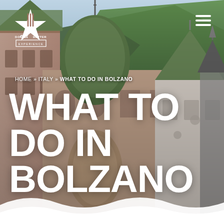[Figure (photo): Hero image of Bolzano's historic architecture with ornate buildings featuring green rooftops and pointed towers, with tree-covered hills in the background]
Do Eat Better Experience logo with star and cutlery icon
HOME » ITALY » WHAT TO DO IN BOLZANO
WHAT TO DO IN BOLZANO